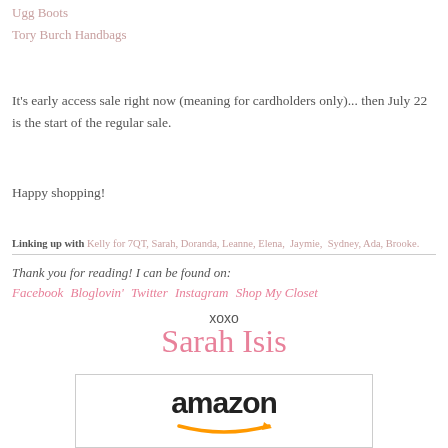Ugg Boots
Tory Burch Handbags
It's early access sale right now (meaning for cardholders only)... then July 22 is the start of the regular sale.
Happy shopping!
Linking up with Kelly for 7QT, Sarah, Doranda, Leanne, Elena, Jaymie, Sydney, Ada, Brooke.
Thank you for reading! I can be found on:
Facebook  Bloglovin' Twitter  Instagram  Shop My Closet
xoxo Sarah Isis
[Figure (logo): Amazon logo with orange arrow beneath]